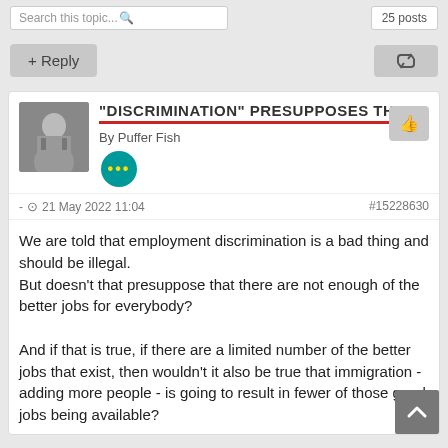Search this topic... | 25 posts
+ Reply
"DISCRIMINATION" PRESUPPOSES THER
By Puffer Fish
- 21 May 2022 11:04   #15228630
We are told that employment discrimination is a bad thing and should be illegal.
But doesn't that presuppose that there are not enough of the better jobs for everybody?

And if that is true, if there are a limited number of the better jobs that exist, then wouldn't it also be true that immigration - adding more people - is going to result in fewer of those good jobs being available?